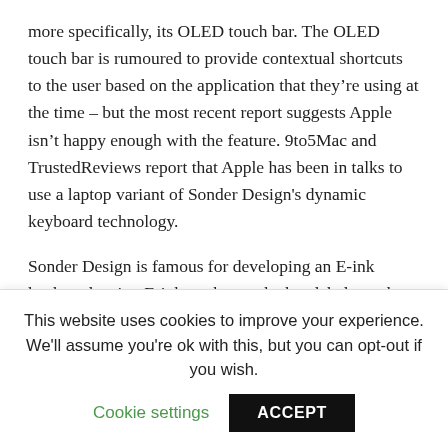more specifically, its OLED touch bar. The OLED touch bar is rumoured to provide contextual shortcuts to the user based on the application that they're using at the time – but the most recent report suggests Apple isn't happy enough with the feature. 9to5Mac and TrustedReviews report that Apple has been in talks to use a laptop variant of Sonder Design's dynamic keyboard technology.
Sonder Design is famous for developing an E-ink keyboard, using E-ink to change the key labels on the fly. This means that the entire keyboard is customisable, providing multiple languages as well as contextual shortcuts from a single keyboard. It allows users that are, for example, editing in Final Cut Pro to look down at the keyboard and see exactly which tool
This website uses cookies to improve your experience. We'll assume you're ok with this, but you can opt-out if you wish.
Cookie settings   ACCEPT